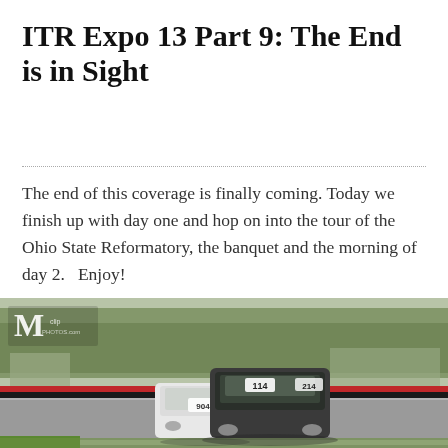ITR Expo 13 Part 9: The End is in Sight
The end of this coverage is finally coming. Today we finish up with day one and hop on into the tour of the Ohio State Reformatory, the banquet and the morning of day 2.   Enjoy!
[Figure (photo): Racing cars on a track. A dark-colored Acura Integra with number 114 leads, followed by a white car with number 904, at a motorsport circuit with trees and barriers in the background. A watermark logo with 'M' is visible in the upper left corner.]